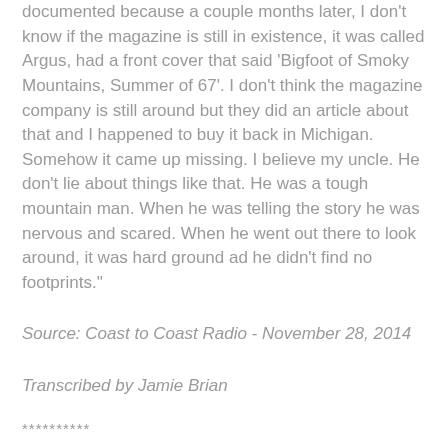documented because a couple months later, I don't know if the magazine is still in existence, it was called Argus, had a front cover that said 'Bigfoot of Smoky Mountains, Summer of 67'. I don't think the magazine company is still around but they did an article about that and I happened to buy it back in Michigan. Somehow it came up missing. I believe my uncle. He don't lie about things like that. He was a tough mountain man. When he was telling the story he was nervous and scared. When he went out there to look around, it was hard ground ad he didn't find no footprints."
Source: Coast to Coast Radio - November 28, 2014
Transcribed by Jamie Brian
**********
[Figure (other): Horizontal decorative divider bar with gradient from light gray to steel blue]